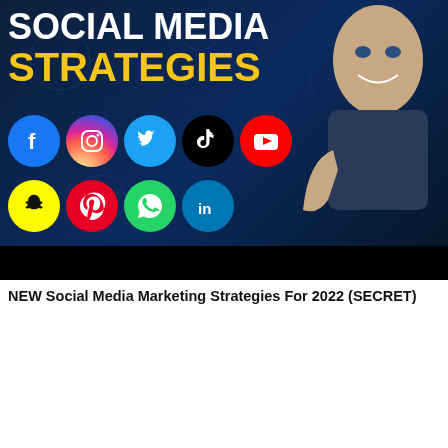[Figure (screenshot): YouTube thumbnail for 'Social Media Strategies' video showing social media platform icons (Facebook, Instagram, Twitter, TikTok, YouTube, Snapchat, Pinterest, WhatsApp, LinkedIn) on dark blue background with a man pointing to the icons, text reads 'SOCIAL MEDIA STRATEGIES' in white and yellow, with a black bar at the bottom]
NEW Social Media Marketing Strategies For 2022 (SECRET)
[Figure (screenshot): YouTube thumbnail partially visible showing '10 MARKETING STRATEGIES' text in white and yellow on dark blue background with a man's face visible on the right side]